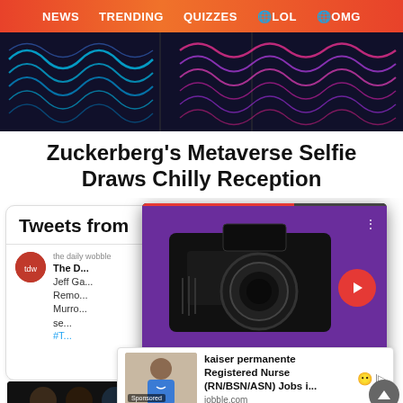NEWS  TRENDING  QUIZZES  🌐LOL  🌐OMG
[Figure (photo): Abstract neon light trails on dark background, blue and pink/purple wavy lines]
Zuckerberg's Metaverse Selfie Draws Chilly Reception
[Figure (screenshot): Tweets from... embedded tweet widget showing The Daily Webb tweet about Jeff Garlin, with partial overlay of video card showing camera on purple background and ad banner for kaiser permanente Registered Nurse (RN/BSN/ASN) Jobs on jobble.com]